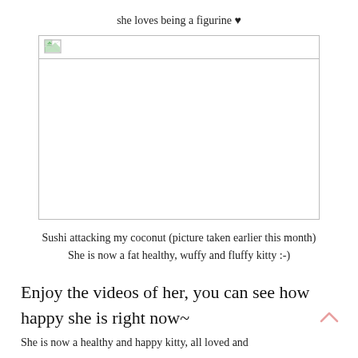she loves being a figurine ♥
[Figure (photo): Broken/missing image placeholder showing a small landscape icon with a border, representing a photo of Sushi the cat attacking a coconut]
Sushi attacking my coconut (picture taken earlier this month)
She is now a fat healthy, wuffy and fluffy kitty :-)
Enjoy the videos of her, you can see how happy she is right now~
She is now a healthy and happy kitty, all loved and